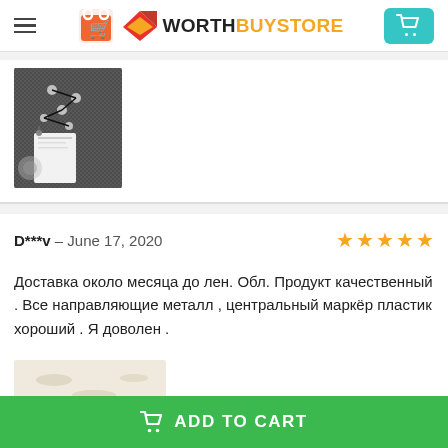WorthBuyStore
[Figure (photo): Product photo showing a fabric item with metal guides and a label tag, dark gray material with silver chain/pins]
D***v – June 17, 2020
Доставка около месяца до лен. Обл. Продукт качественный . Все направляющие металл , центральный маркёр пластик хороший . Я доволен .
[Figure (photo): Partial product photo preview at bottom of review]
ADD TO CART